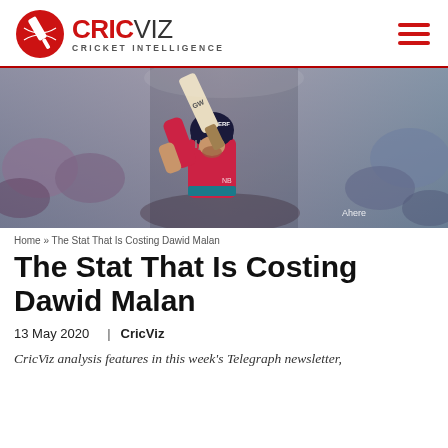CRICVIZ CRICKET INTELLIGENCE
[Figure (photo): Cricket player in England red kit raising bat, celebrating, crowd in background]
Home » The Stat That Is Costing Dawid Malan
The Stat That Is Costing Dawid Malan
13 May 2020    | CricViz
CricViz analysis features in this week's Telegraph newsletter,